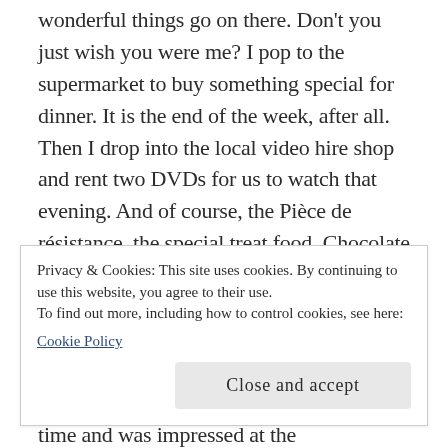wonderful things go on there. Don't you just wish you were me? I pop to the supermarket to buy something special for dinner. It is the end of the week, after all. Then I drop into the local video hire shop and rent two DVDs for us to watch that evening. And of course, the Pièce de résistance, the special treat food. Chocolate biscuits, savoury crackers and wine. Oh, yes, we know how to live, do Andrew and I. This particular Friday I seemed to have more time than usual. I popped into the town library. I hadn't been there for some time and was impressed at the improvements that had been made and browsed the
Privacy & Cookies: This site uses cookies. By continuing to use this website, you agree to their use.
To find out more, including how to control cookies, see here:
Cookie Policy
Close and accept